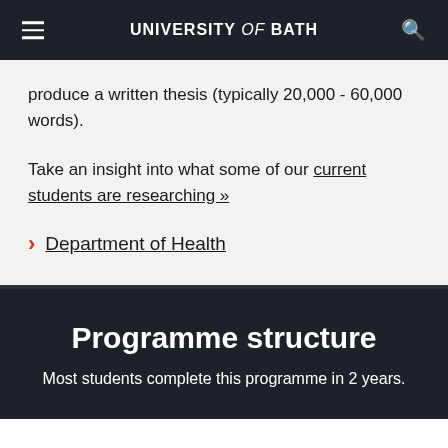UNIVERSITY of BATH
produce a written thesis (typically 20,000 - 60,000 words).
Take an insight into what some of our current students are researching »
Department of Health
Programme structure
Most students complete this programme in 2 years.